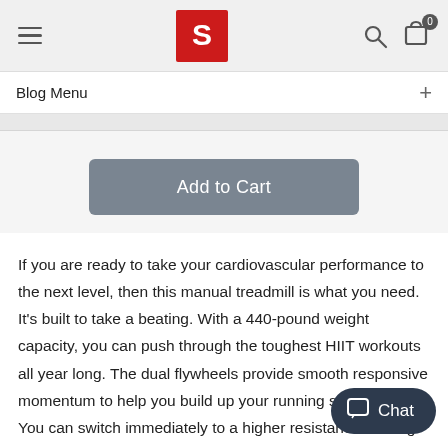Blog Menu
Blog Menu
Add to Cart
If you are ready to take your cardiovascular performance to the next level, then this manual treadmill is what you need. It's built to take a beating. With a 440-pound weight capacity, you can push through the toughest HIIT workouts all year long. The dual flywheels provide smooth responsive momentum to help you build up your running stride rate. You can switch immediately to a higher resistance training workout when you use the resistance adjustment level that will let you switch between 8 levels of magnetic tension. is great for helping you increase your stride length and increase you